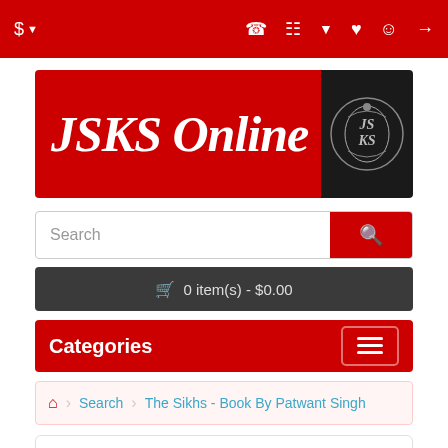$ ▼  [phone] [user] [heart] [cart] [share]
[Figure (logo): JSKS Online logo — red background with italic white text 'JSKS Online' and a black panel with decorative emblem]
Search
🛒 0 item(s) - $0.00
Categories
🏠 Search > The Sikhs - Book By Patwant Singh
Now Enjoy Bulk Discounts on